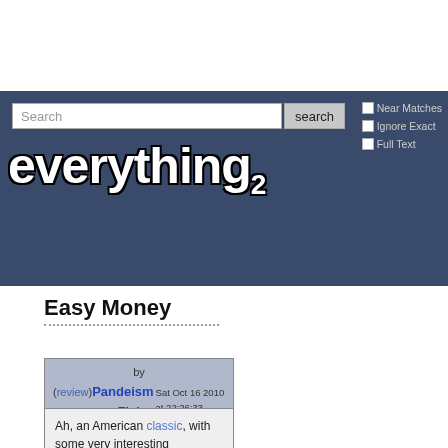[Figure (screenshot): Everything2 website header with dark blue background, search bar, search button, checkboxes for Near Matches, Ignore Exact, Full Text, and the Everything2 logo in white bold text with black outline]
Easy Money
by (review) PandeismFish Sat Oct 16 2010 at 22:26:33
Ah, an American classic, with some very interesting implications.... Rodney Dangerfield